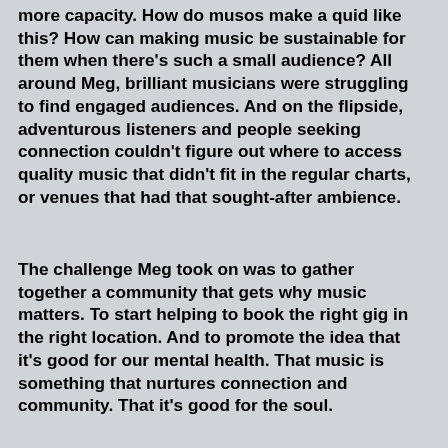more capacity. How do musos make a quid like this? How can making music be sustainable for them when there's such a small audience? All around Meg, brilliant musicians were struggling to find engaged audiences. And on the flipside,  adventurous listeners and people seeking connection couldn't figure out where to access quality music that didn't fit in the regular charts, or venues that had that sought-after ambience.
The challenge Meg took on was to gather together a community that gets why music matters. To start helping to book the right gig in the right location. And to promote the idea that it's good for our mental health. That music is something that nurtures connection and community. That it's good for the soul.